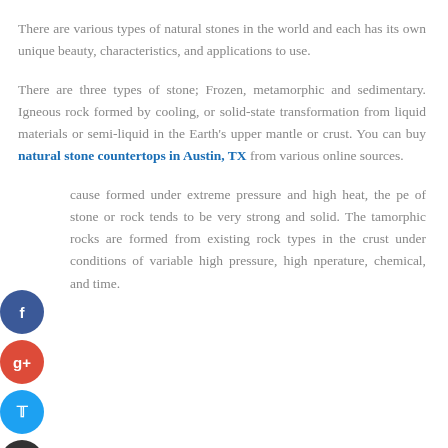There are various types of natural stones in the world and each has its own unique beauty, characteristics, and applications to use.
There are three types of stone; Frozen, metamorphic and sedimentary. Igneous rock formed by cooling, or solid-state transformation from liquid materials or semi-liquid in the Earth's upper mantle or crust. You can buy natural stone countertops in Austin, TX from various online sources.
...cause formed under extreme pressure and high heat, the ...pe of stone or rock tends to be very strong and solid. The ...tamorphic rocks are formed from existing rock types in the crust under conditions of variable high pressure, high ...nperature, chemical, and time.